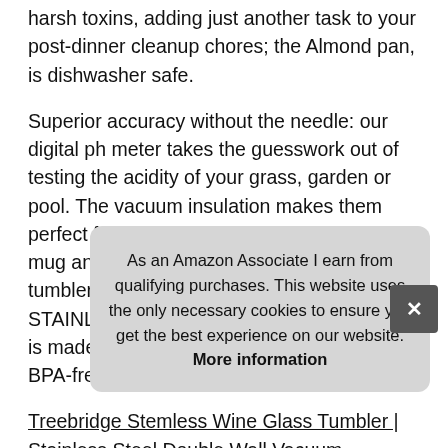too many shields have to be hand-washed, which is free of harsh toxins, adding just another task to your post-dinner cleanup chores; the Almond pan, is dishwasher safe.
Superior accuracy without the needle: our digital ph meter takes the guesswork out of testing the acidity of your grass, garden or pool. The vacuum insulation makes them perfect for ice cream!!!!★18/8 stainless steel mug and bpa free lid - treebridge wine tumblers are made from 18/8 food-grade STAINLESS STEEL and the straw-friendly lid is made out of non-toxic, FDA approved, BPA-free, shatter proof plastic.
Treebridge Stemless Wine Glass Tumbler | Stainless Steel Double Wall Vacuum Insulated Cup w/BPA Free Lid | Great mug...
The... FOS... for h... enjo...
As an Amazon Associate I earn from qualifying purchases. This website uses the only necessary cookies to ensure you get the best experience on our website. More information